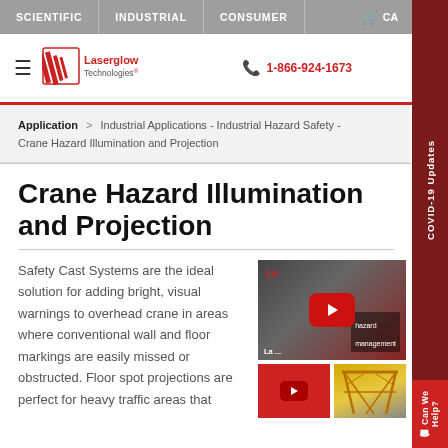SCIENTIFIC  |  INDUSTRIAL  |  CONSUMER
[Figure (logo): Laserglow Technologies logo with red striped graphic and company name]
1-866-924-1673
Application > Industrial Applications - Industrial Hazard Safety - Crane Hazard Illumination and Projection
Crane Hazard Illumination and Projection
Safety Cast Systems are the ideal solution for adding bright, visual warnings to overhead crane in areas where conventional wall and floor markings are easily missed or obstructed. Floor spot projections are perfect for heavy traffic areas that
[Figure (screenshot): YouTube video thumbnail showing Laserglow Technologies video about hazard management]
[Figure (screenshot): Small YouTube video thumbnail with red play button]
[Figure (photo): Small thumbnail showing yellow crane structure]